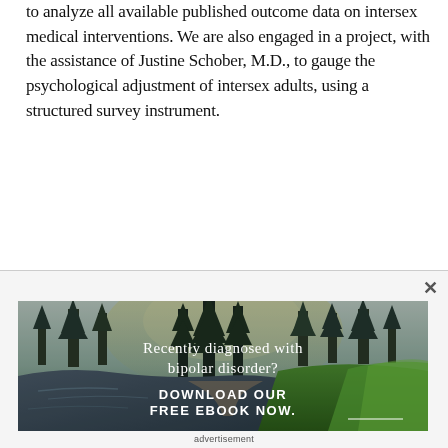to analyze all available published outcome data on intersex medical interventions. We are also engaged in a project, with the assistance of Justine Schober, M.D., to gauge the psychological adjustment of intersex adults, using a structured survey instrument.
[Figure (photo): Advertisement banner showing a forest/mountain stream landscape at dusk with text overlay: 'Recently diagnosed with bipolar disorder? DOWNLOAD OUR FREE EBOOK NOW.' with a horizontal line below the ebook text.]
advertisement